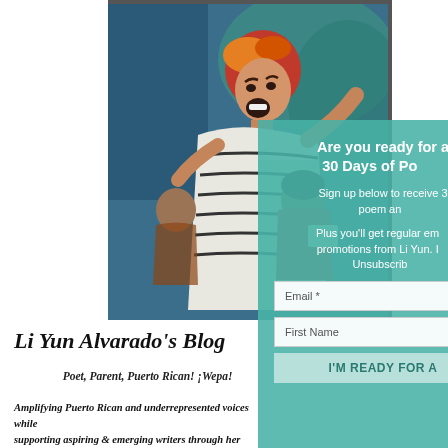[Figure (illustration): Colorful painted artwork showing expressive figures including a woman with red hair screaming/yelling in a dramatic pose, with other figures behind her. Bold colors of blue, red, and white.]
Are you ready for a
30 Days of Poetry
Sign up below to receive 3 poem an...
Plus you'll get regular em... promotions from Li Yun. I... Unsubscrib...
Email *
First Name
I'M READY FOR A
Li Yun Alvarado's Blog
Poet, Parent, Puerto Rican! ¡Wepa!
Amplifying Puerto Rican and underrepresented voices while supporting aspiring & emerging writers through her writing